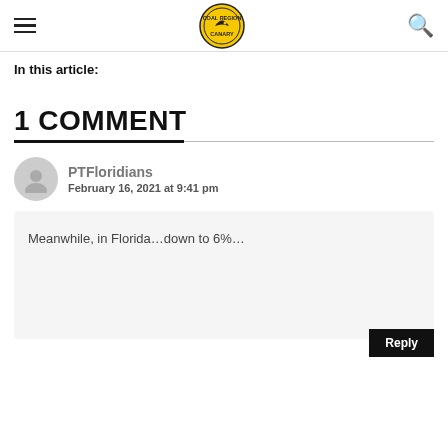[hamburger menu] [Coal Region Canary logo] [search icon]
In this article:
1 COMMENT
PTFloridians
February 16, 2021 at 9:41 pm
Meanwhile, in Florida…down to 6%…
Reply